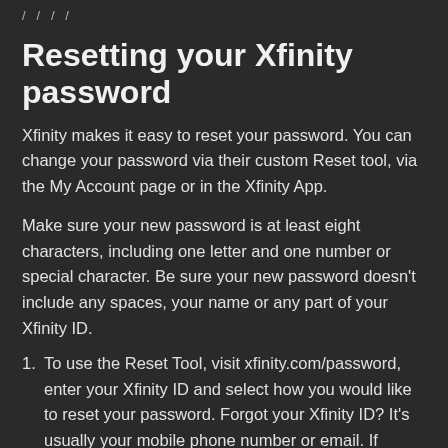/ ... / ... / ... /
Resetting your Xfinity password
Xfinity makes it easy to reset your password. You can change your password via their custom Reset tool, via the My Account page or in the Xfinity App.
Make sure your new password is at least eight characters, including one letter and one number or special character. Be sure your new password doesn't include any spaces, your name or any part of your Xfinity ID.
1. To use the Reset Tool, visit xfinity.com/password, enter your Xfinity ID and select how you would like to reset your password. Forgot your Xfinity ID? It's usually your mobile phone number or email. If neither of those work,